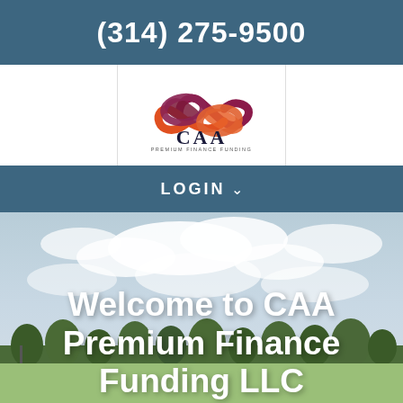(314) 275-9500
[Figure (logo): CAA Premium Finance Funding logo with infinity symbol in orange and dark red over the letters CAA and tagline 'PREMIUM FINANCE FUNDING']
LOGIN
[Figure (photo): Outdoor landscape with blue sky, white clouds, green trees and a field, serving as hero background image]
Welcome to CAA Premium Finance Funding LLC